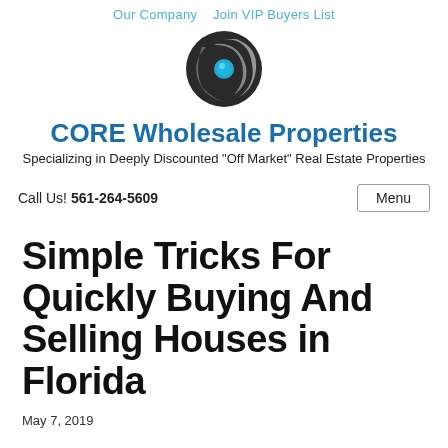Our Company   Join VIP Buyers List
[Figure (logo): CORE Wholesale Properties circular logo with swirl and blue center dot]
CORE Wholesale Properties
Specializing in Deeply Discounted "Off Market" Real Estate Properties
Call Us! 561-264-5609
Menu
Simple Tricks For Quickly Buying And Selling Houses in Florida
May 7, 2019